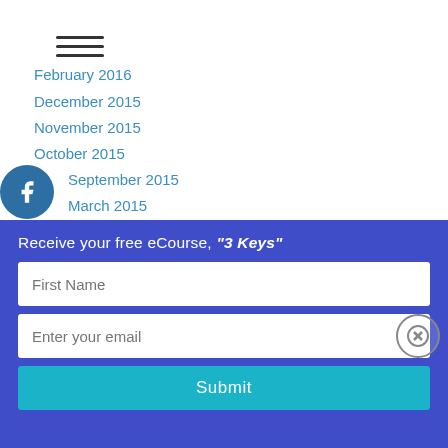☰ (hamburger menu icon)
February 2016
December 2015
November 2015
October 2015
September 2015
March 2015
October 2014
September 2014
August 2014
July 2014
February 2014
January 2014
[Figure (infographic): Social media icons (Facebook, Instagram, SoundCloud, YouTube, Twitter) as circular blue buttons on the left edge]
Receive your free eCourse, "3 Keys"
First Name
Enter your email
Submit